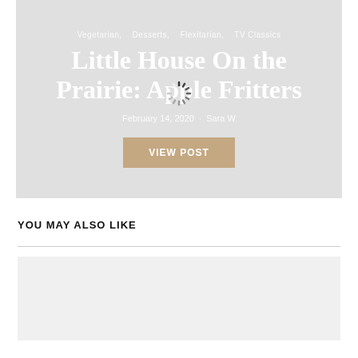[Figure (screenshot): Hero card with gray background showing blog post header. Contains category tags, title 'Little House On the Prairie: Apple Fritters', date and author info, and a loading spinner overlay.]
Vegetarian,    Desserts,    Flexitarian,    TV Classics
Little House On the Prairie: Apple Fritters
February 14, 2020  ·  Sara W
VIEW POST
YOU MAY ALSO LIKE